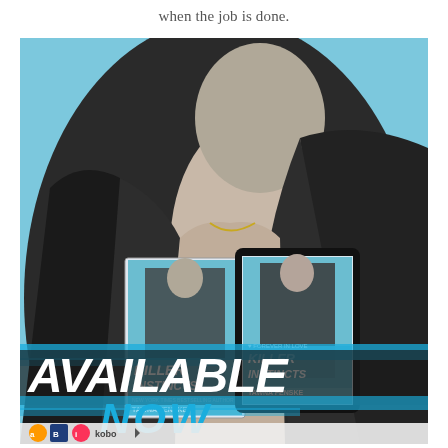when the job is done.
[Figure (photo): Promotional book advertisement image showing a muscular man in a black leather jacket against a blue background, holding book covers and tablet displaying 'Killer Instincts' by Tawna Fenske. Large text reads 'AVAILABLE NOW' with retailer icons at the bottom including Amazon, and Kobo.]